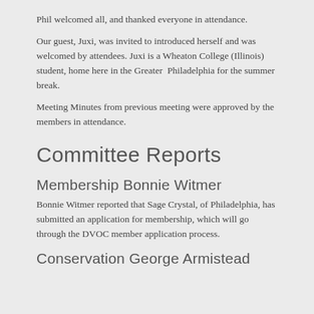Phil welcomed all, and thanked everyone in attendance.
Our guest, Juxi, was invited to introduced herself and was welcomed by attendees. Juxi is a Wheaton College (Illinois) student, home here in the Greater Philadelphia for the summer break.
Meeting Minutes from previous meeting were approved by the members in attendance.
Committee Reports
Membership Bonnie Witmer
Bonnie Witmer reported that Sage Crystal, of Philadelphia, has submitted an application for membership, which will go through the DVOC member application process.
Conservation George Armistead